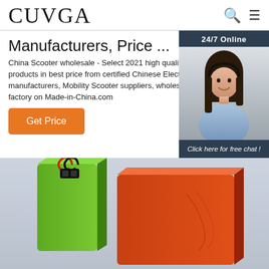CUVGA
Manufacturers, Price ...
China Scooter wholesale - Select 2021 high quality Scooter products in best price from certified Chinese Electric manufacturers, Mobility Scooter suppliers, wholesalers and factory on Made-in-China.com
[Figure (photo): Customer service representative with headset, 24/7 Online chat widget with dark blue background and orange QUOTATION button]
[Figure (photo): Two battery packs, one green and one orange/red, with black cables, displayed against a light blue/grey background]